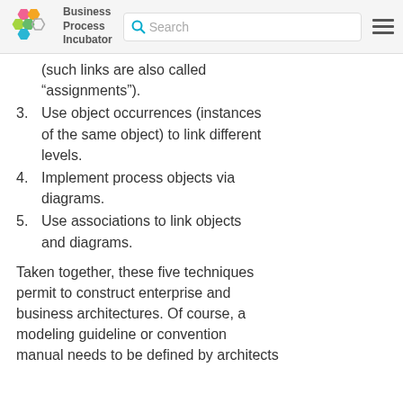Business Process Incubator | Search
(such links are also called “assignments”).
3. Use object occurrences (instances of the same object) to link different levels.
4. Implement process objects via diagrams.
5. Use associations to link objects and diagrams.
Taken together, these five techniques permit to construct enterprise and business architectures. Of course, a modeling guideline or convention manual needs to be defined by architects